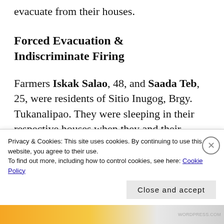evacuate from their houses.
Forced Evacuation & Indiscriminate Firing
Farmers Iskak Salao, 48, and Saada Teb, 25, were residents of Sitio Inugog, Brgy. Tukanalipao. They were sleeping in their respective houses when they and their neighbors heard gunshots. Iskak, Saada and many others
Privacy & Cookies: This site uses cookies. By continuing to use this website, you agree to their use.
To find out more, including how to control cookies, see here: Cookie Policy
Close and accept